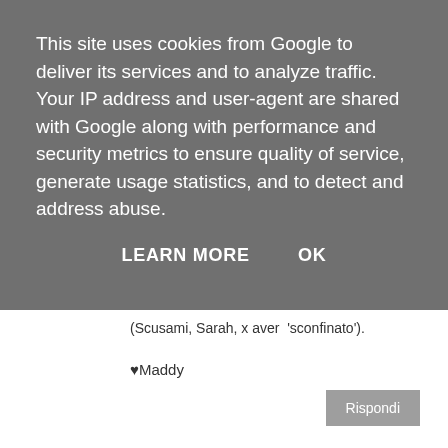This site uses cookies from Google to deliver its services and to analyze traffic. Your IP address and user-agent are shared with Google along with performance and security metrics to ensure quality of service, generate usage statistics, and to detect and address abuse.
LEARN MORE    OK
(Scusami, Sarah, x aver  'sconfinato').
♥Maddy
Rispondi
Graziella
27 maggio 2010 17:57
Che meraviglia, cè un angolino che copierò sicuramente.Sarah finalmente ho trovato Casa Romantica, la tua intervista